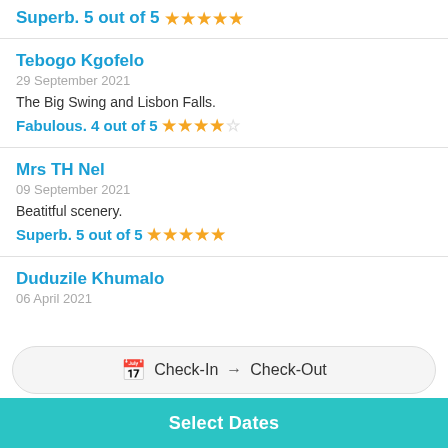Superb. 5 out of 5 ★★★★★
Tebogo Kgofelo
29 September 2021
The Big Swing and Lisbon Falls.
Fabulous. 4 out of 5 ★★★★☆
Mrs TH Nel
09 September 2021
Beatitful scenery.
Superb. 5 out of 5 ★★★★★
Duduzile Khumalo
06 April 2021
Check-In → Check-Out
Select Dates